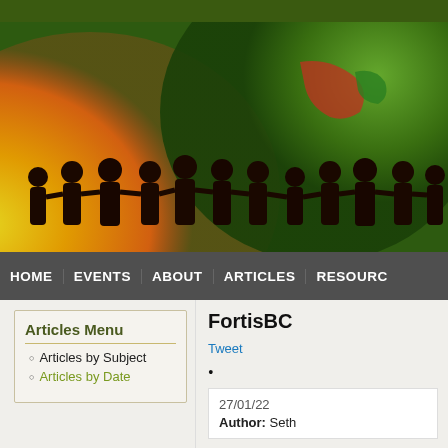[Figure (illustration): Website header banner showing silhouettes of people holding hands in front of a colorful globe with green, orange, red, and yellow background. Dark green bar at very top.]
HOME | EVENTS | ABOUT | ARTICLES | RESOURCES
Articles Menu
Articles by Subject
Articles by Date
FortisBC
Tweet
27/01/22
Author: Seth